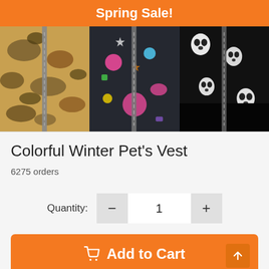Spring Sale!
[Figure (photo): Three colorful winter pet vests side by side: left is camouflage pattern (tan/brown), middle is dark with pink and colorful cartoon prints, right is black with skull pattern.]
Colorful Winter Pet's Vest
6275 orders
Quantity: 1
Add to Cart
View cart →